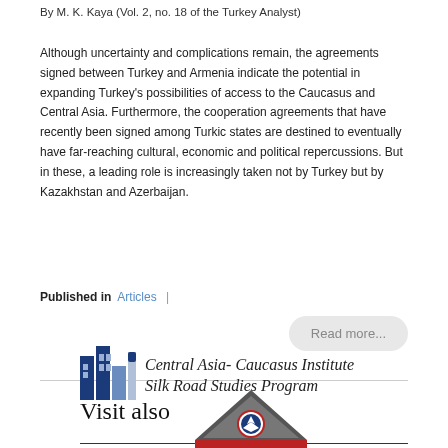By M. K. Kaya (Vol. 2, no. 18 of the Turkey Analyst)
Although uncertainty and complications remain, the agreements signed between Turkey and Armenia indicate the potential in expanding Turkey’s possibilities of access to the Caucasus and Central Asia. Furthermore, the cooperation agreements that have recently been signed among Turkic states are destined to eventually have far-reaching cultural, economic and political repercussions. But in these, a leading role is increasingly taken not by Turkey but by Kazakhstan and Azerbaijan.
Published in  Articles |
Read more...
Visit also
[Figure (logo): Central Asia-Caucasus Institute Silk Road Studies Program logo with building icon]
[Figure (logo): Organization logo with triangular/pyramid shape and eagle emblem in red, white and blue]